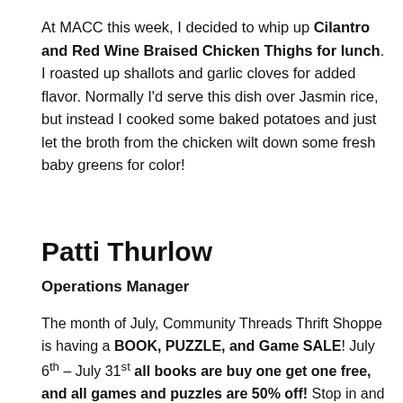At MACC this week, I decided to whip up Cilantro and Red Wine Braised Chicken Thighs for lunch. I roasted up shallots and garlic cloves for added flavor. Normally I'd serve this dish over Jasmin rice, but instead I cooked some baked potatoes and just let the broth from the chicken wilt down some fresh baby greens for color!
Patti Thurlow
Operations Manager
The month of July, Community Threads Thrift Shoppe is having a BOOK, PUZZLE, and Game SALE! July 6th – July 31st all books are buy one get one free, and all games and puzzles are 50% off! Stop in and grab some for summer entertainment.